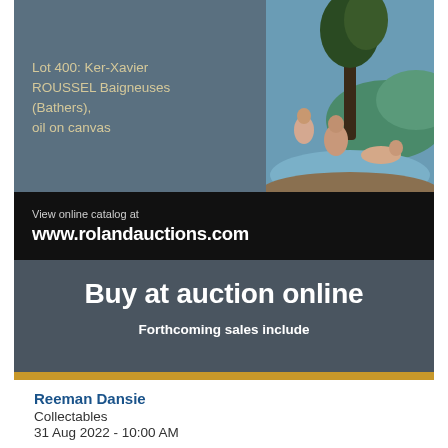[Figure (photo): Auction lot image banner: grey background with text describing Lot 400: Ker-Xavier ROUSSEL Baigneuses (Bathers), oil on canvas, and a painting reproduction on the right showing figures in a landscape.]
View online catalog at www.rolandauctions.com
Buy at auction online
Forthcoming sales include
Reeman Dansie
Collectables
31 Aug 2022 - 10:00 AM
Elstob & Elstob Auctioneers
Jewellery, Watches & Silver
01 Sep 2022 - 10:00 AM